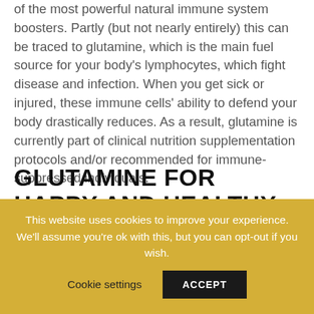of the most powerful natural immune system boosters. Partly (but not nearly entirely) this can be traced to glutamine, which is the main fuel source for your body's lymphocytes, which fight disease and infection. When you get sick or injured, these immune cells' ability to defend your body drastically reduces. As a result, glutamine is currently part of clinical nutrition supplementation protocols and/or recommended for immune-suppressed individuals.
GLUTAMINE FOR HAPPY AND HEALTHY GUT
While playing an important role in your immune
This website uses cookies to improve your experience. We'll assume you're ok with this, but you can opt-out if you wish.
Cookie settings   ACCEPT